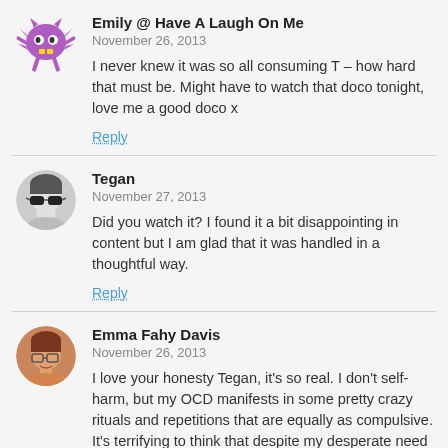Emily @ Have A Laugh On Me
November 26, 2013
I never knew it was so all consuming T – how hard that must be. Might have to watch that doco tonight, love me a good doco x
Reply
Tegan
November 27, 2013
Did you watch it? I found it a bit disappointing in content but I am glad that it was handled in a thoughtful way.
Reply
Emma Fahy Davis
November 26, 2013
I love your honesty Tegan, it's so real. I don't self-harm, but my OCD manifests in some pretty crazy rituals and repetitions that are equally as compulsive. It's terrifying to think that despite my desperate need for control, the OCD controls me a lot of the time.